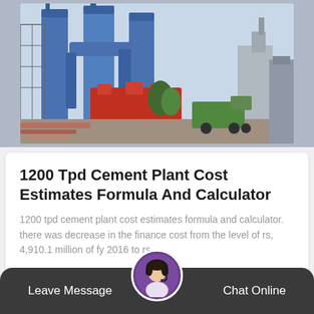[Figure (photo): Industrial cement plant with blue silos, pipes, scaffolding, red machinery, and a truck in the background]
1200 Tpd Cement Plant Cost Estimates Formula And Calculator
1200 tpd cement plant cost estimates formula and calculator. there was decrease in the finance cost from the level of rs, 4,910.1 million of fy 2016 to rs,...
Read More →